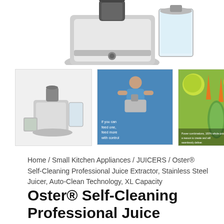[Figure (photo): Partial top view of the Oster Self-Cleaning Professional Juice Extractor product image, showing the top portion of a stainless steel juicer appliance with a clear container]
[Figure (photo): Three product thumbnails: left shows full juicer appliance on grey background, center shows blue lifestyle image of person using juicer with text overlay, right shows vegetables and fruits with juicer on green/orange background]
Home / Small Kitchen Appliances / JUICERS / Oster® Self-Cleaning Professional Juice Extractor, Stainless Steel Juicer, Auto-Clean Technology, XL Capacity
Oster® Self-Cleaning Professional Juice Extractor, Stainless Steel Juicer, Auto-Clean Technology, XL Capacity